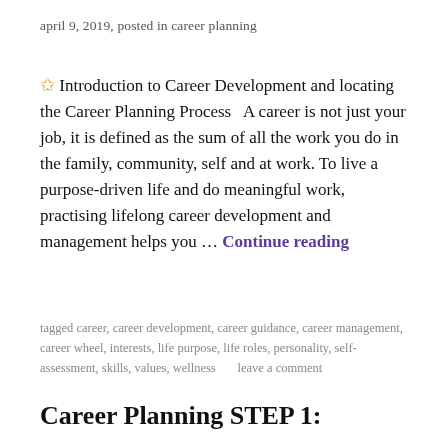april 9, 2019, posted in career planning
⭐ Introduction to Career Development and locating the Career Planning Process   A career is not just your job, it is defined as the sum of all the work you do in the family, community, self and at work. To live a purpose-driven life and do meaningful work, practising lifelong career development and management helps you … Continue reading
tagged career, career development, career guidance, career management, career wheel, interests, life purpose, life roles, personality, self-assessment, skills, values, wellness      leave a comment
Career Planning STEP 1: